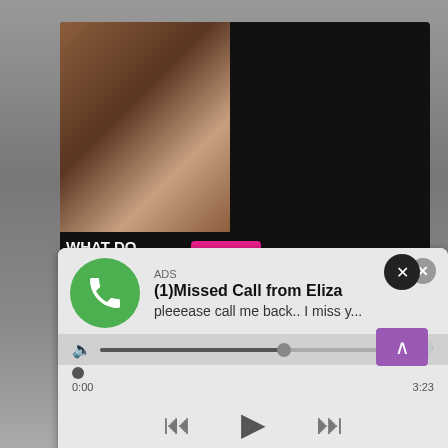[Figure (screenshot): Background adult content photo blurred/dimmed]
[Figure (screenshot): Adult website advertisement overlay with WHAT DO YOU WANT? WATCH button, Online indicator, thumbnail images, text: Cumming, ass fucking, squirt or... • ADS]
[Figure (screenshot): Fake missed call notification ad: ADS label, (1)Missed Call from Eliza, pleeease call me back.. I miss y..., audio player with progress bar, time 0:00 to 3:23, playback controls]